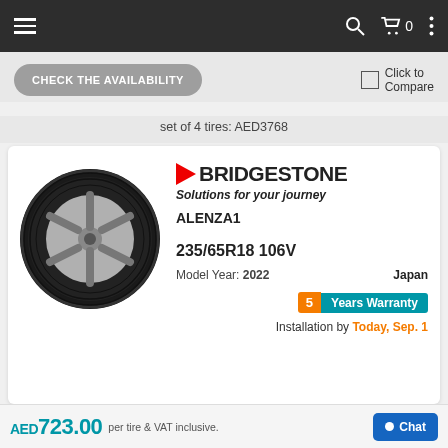Navigation bar with hamburger menu, search, cart (0), and more options
CHECK THE AVAILABILITY
Click to Compare
set of 4 tires: AED3768
[Figure (photo): Bridgestone Alenza1 tire product image showing black tire with multi-spoke alloy wheel design]
BRIDGESTONE
Solutions for your journey
ALENZA1
235/65R18 106V
Model Year: 2022    Japan
5 Years Warranty
Installation by Today, Sep. 1
AED723.00 per tire & VAT inclusive.